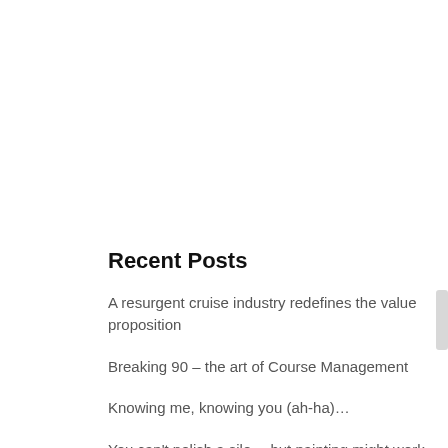Recent Posts
A resurgent cruise industry redefines the value proposition
Breaking 90 – the art of Course Management
Knowing me, knowing you (ah-ha)…
You can't polish a silo… but painting might work
The Bottom Line: The Reverse SLA… Howzat?